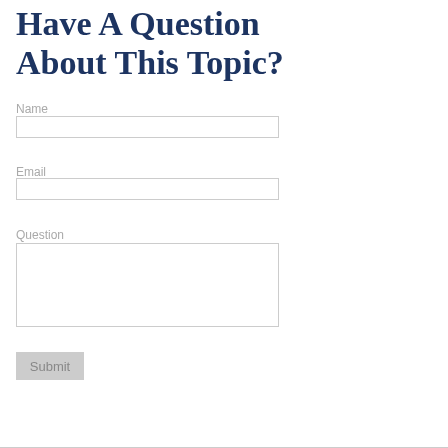Have A Question About This Topic?
Name
Email
Question
Submit